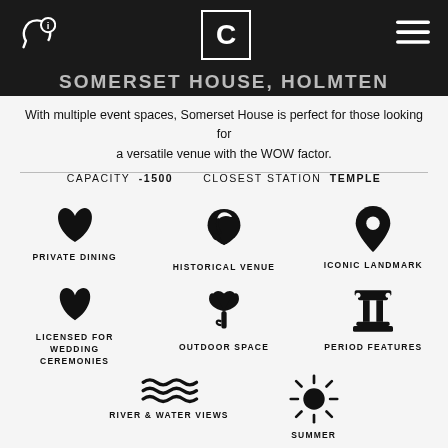C — [header bar with logo and navigation icons]
Somerset House, HOLMTEN [partially visible title]
With multiple event spaces, Somerset House is perfect for those looking for a versatile venue with the WOW factor.
CAPACITY -1500   CLOSEST STATION   TEMPLE
[Figure (infographic): Six feature icons in a 3x2 grid: heart (PRIVATE DINING), helmet (HISTORICAL VENUE), location pin (ICONIC LANDMARK), heart (LICENSED FOR WEDDING CEREMONIES), flower (OUTDOOR SPACE), column (PERIOD FEATURES), plus two bottom icons: waves (RIVER & WATER VIEWS), sun (SUMMER)]